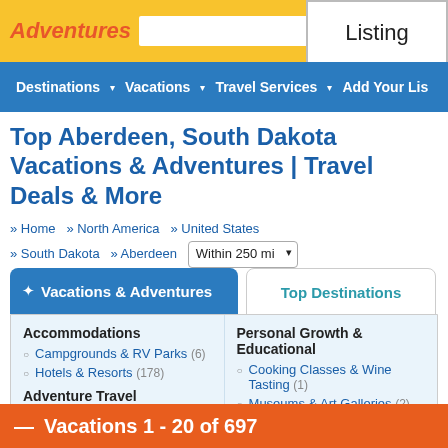Adventures | Listing
Destinations ▾  Vacations ▾  Travel Services ▾  Add Your Listing
Top Aberdeen, South Dakota Vacations & Adventures | Travel Deals & More
» Home  » North America  » United States  » South Dakota  » Aberdeen  Within 250 mi
Vacations & Adventures  Top Destinations
Accommodations
Campgrounds & RV Parks (6)
Hotels & Resorts (178)
Adventure Travel
Hiking & Trekking (1)
Personal Growth & Educational
Cooking Classes & Wine Tasting (1)
Museums & Art Galleries (2)
+ See More
— Vacations 1 - 20 of 697